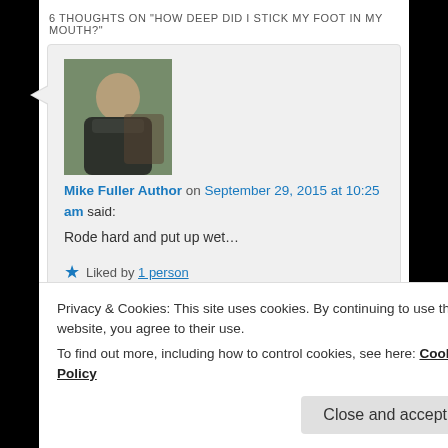6 THOUGHTS ON "HOW DEEP DID I STICK MY FOOT IN MY MOUTH?"
Mike Fuller Author on September 29, 2015 at 10:25 am said:
Rode hard and put up wet…
★ Liked by 1 person
Reply ↓
Privacy & Cookies: This site uses cookies. By continuing to use this website, you agree to their use.
To find out more, including how to control cookies, see here: Cookie Policy
Close and accept